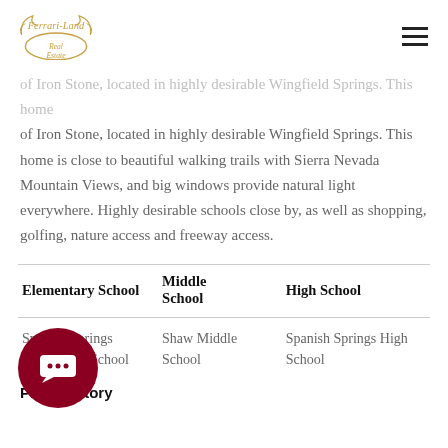[Figure (logo): Ferrari-Land Real Estate logo with ornate script text and oval border]
of Iron Stone, located in highly desirable Wingfield Springs. This home is close to beautiful walking trails with Sierra Nevada Mountain Views, and big windows provide natural light everywhere. Highly desirable schools close by, as well as shopping, golfing, nature access and freeway access.
| Elementary School | Middle School | High School |
| --- | --- | --- |
| Spanish Springs Elementary School | Shaw Middle School | Spanish Springs High School |
Price History